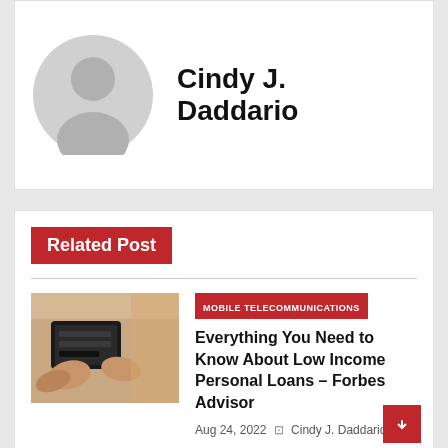[Figure (illustration): Gray silhouette avatar icon of a person on white background]
Cindy J. Daddario
Related Post
[Figure (photo): Hands holding an open empty black leather wallet]
MOBILE TELECOMMUNICATIONS
Everything You Need to Know About Low Income Personal Loans – Forbes Advisor
Aug 24, 2022  |  Cindy J. Daddario